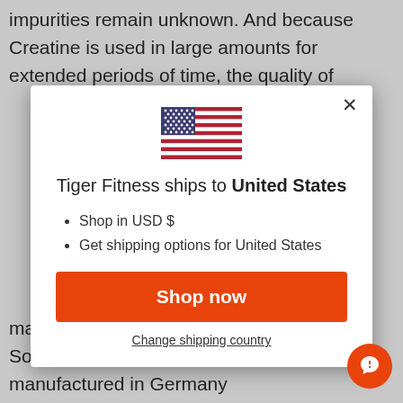impurities remain unknown. And because Creatine is used in large amounts for extended periods of time, the quality of
[Figure (screenshot): Modal dialog from Tiger Fitness website showing US flag, title 'Tiger Fitness ships to United States', bullet points 'Shop in USD $' and 'Get shipping options for United States', an orange 'Shop now' button, and a 'Change shipping country' link]
manufacturing processes that leave excess Sodium in the finished product. Creapure® is manufactured in Germany